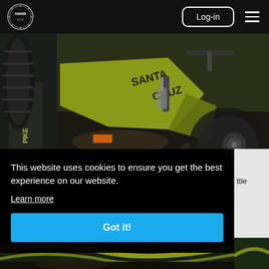NSMB logo, Log-in button, hamburger menu
[Figure (photo): Close-up photo of a Santa Cruz mountain bike with yellow-green frame and PIKE fork, leaning with other bikes in a forest setting]
This website uses cookies to ensure you get the best experience on our website.
Learn more
Got it!
[Figure (photo): Partially visible mountain bike photo at the bottom of the page]